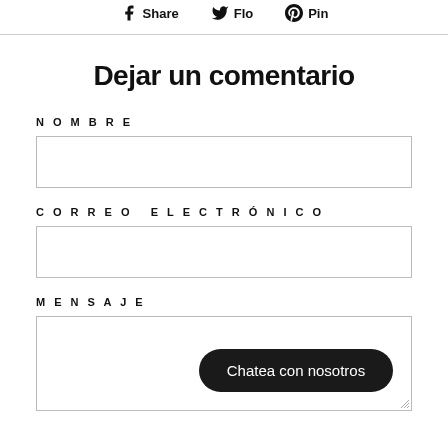Share  Flo  Pin
Dejar un comentario
NOMBRE
CORREO ELECTRÓNICO
MENSAJE
[Figure (other): Chat button overlay reading 'Chatea con nosotros' in a dark rounded pill shape]